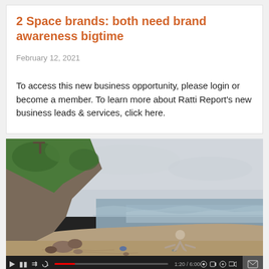2 Space brands: both need brand awareness bigtime
February 12, 2021
To access this new business opportunity, please login or become a member. To learn more about Ratti Report's new business leads & services, click here.
[Figure (photo): Video player showing a beach scene with a rocky cliff on the left covered with green vegetation, a person crouching on the sandy beach near the water, and overcast sky. Below the image is a video control bar with play button, progress bar (red fill), time label, and control icons including a mail envelope icon.]